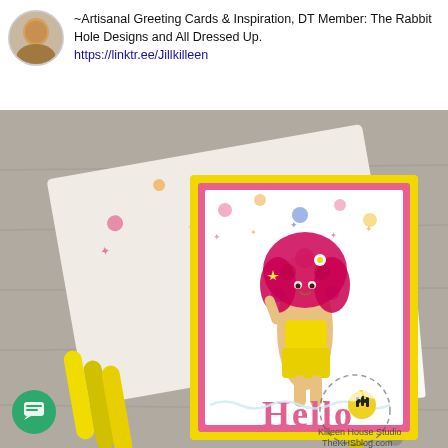~Artisanal Greeting Cards & Inspiration, DT Member: The Rabbit Hole Designs and All Dressed Up. https://linktr.ee/Jillkilleen
[Figure (photo): Handmade greeting card featuring a cartoon girl with pink curly hair wearing a yellow swimsuit, surrounded by seashell and star patterned paper, with 'Hello' die-cut text, yellow Copic markers, and a watermark reading Killeen House Studio TheKHSblog.com]